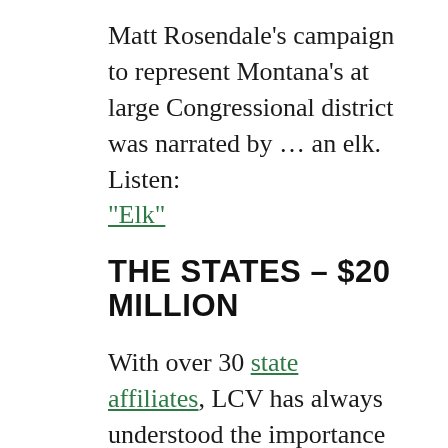Matt Rosendale's campaign to represent Montana's at large Congressional district was narrated by … an elk. Listen: “Elk”
THE STATES – $20 MILLION
With over 30 state affiliates, LCV has always understood the importance of investing in elected offices at every level. But the last four years have shown us that state action can hold the line against a dangerous, climate denying, racist federal administration. Without state level clean energy initiatives, US